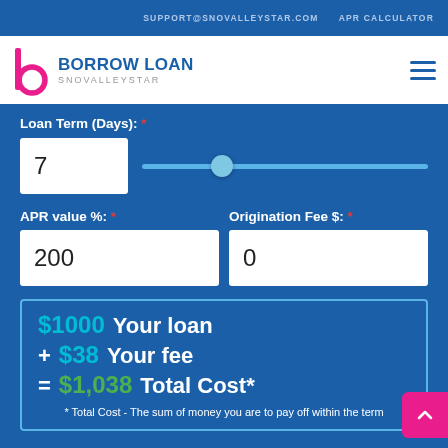SUPPORT@SNOVALLEYSTAR.COM   APR CALCULATOR
[Figure (logo): Borrow Loan Snovalleystar logo with stylized 'b' icon in pink/magenta]
Loan Term (Days): *
7 [slider input]
APR value %: *
Origination Fee $: *
200
0
$1000 Your loan
+ $38 Your fee
= $1,038 Total Cost*
* Total Cost - The sum of money you are to pay off within the term